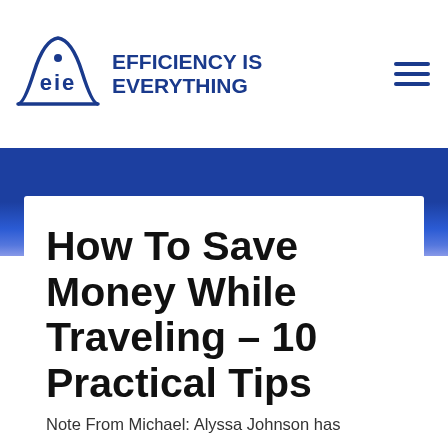EFFICIENCY IS EVERYTHING
How To Save Money While Traveling – 10 Practical Tips
Note From Michael: Alyssa Johnson has
1945 of 5000